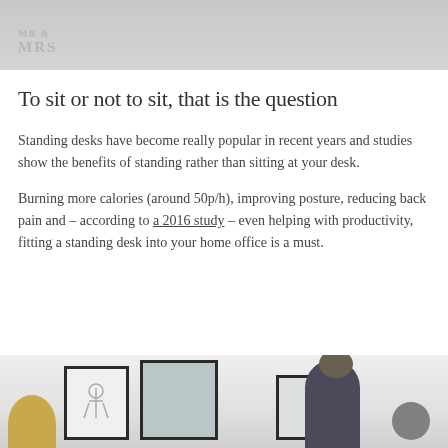[Figure (photo): Top portion of a lifestyle blog image showing a logo with 'MRS' text in gray, on a light gray background]
To sit or not to sit, that is the question
Standing desks have become really popular in recent years and studies show the benefits of standing rather than sitting at your desk.
Burning more calories (around 50p/h), improving posture, reducing back pain and – according to a 2016 study – even helping with productivity, fitting a standing desk into your home office is a must.
[Figure (photo): Photo of a home office interior with framed artwork on wall and a person (partially visible, bald, wearing glasses and dark patterned shirt) standing at a desk, with a round lamp visible]